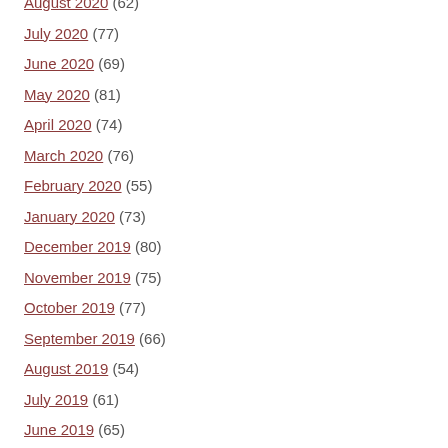August 2020 (62)
July 2020 (77)
June 2020 (69)
May 2020 (81)
April 2020 (74)
March 2020 (76)
February 2020 (55)
January 2020 (73)
December 2019 (80)
November 2019 (75)
October 2019 (77)
September 2019 (66)
August 2019 (54)
July 2019 (61)
June 2019 (65)
May 2019 (66)
April 2019 (55)
March 2019 (55)
February 2019 (54)